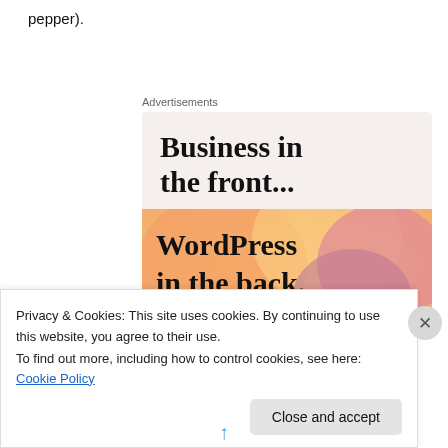pepper).
Advertisements
[Figure (illustration): Advertisement for WordPress: top half shows 'Business in the front...' text on light beige background; bottom half shows 'WordPress in the back.' on a colorful gradient background with orange, yellow, and pink/mauve circular shapes.]
Privacy & Cookies: This site uses cookies. By continuing to use this website, you agree to their use.
To find out more, including how to control cookies, see here: Cookie Policy